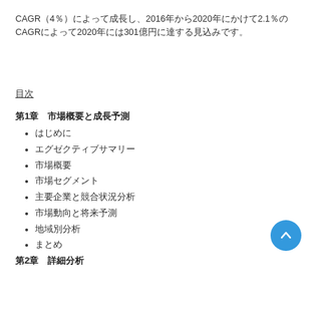CAGR（4％）によって成長し、2016年から2020年にかけて2.1％のCAGRによって2020年には301億円に達する見込みです。
（本テキストはサンプルのプレースホルダーテキストです。実際のコンテンツはここに表示されます。）
（本テキストはサンプルのプレースホルダーテキストです。実際のコンテンツはここに表示されます。さらに詳細な情報が続きます。）
目次
第1章　市場概要と成長予測
はじめに
エグゼクティブサマリー
市場概要
市場セグメント
主要企業と競合状況分析
市場動向と将来予測
地域別分析
まとめ
第2章　詳細分析